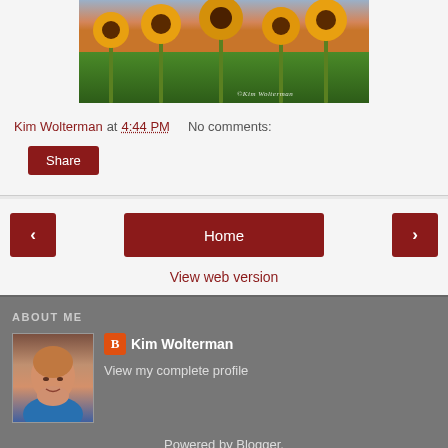[Figure (photo): Sunflower field photo with watermark text '©Kim Wolterman' in cursive at bottom right]
Kim Wolterman at 4:44 PM   No comments:
Share
< Home >
View web version
ABOUT ME
[Figure (photo): Profile photo of Kim Wolterman]
Kim Wolterman
View my complete profile
Powered by Blogger.